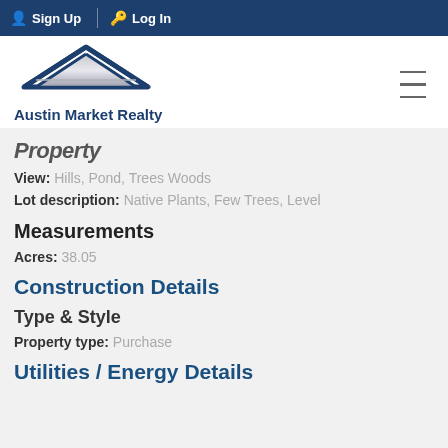Sign Up  Log In
[Figure (logo): Austin Market Realty logo with house roof graphic and company name]
Property
View: Hills, Pond, Trees Woods
Lot description: Native Plants, Few Trees, Level
Measurements
Acres: 38.05
Construction Details
Type & Style
Property type: Purchase
Utilities / Energy Details